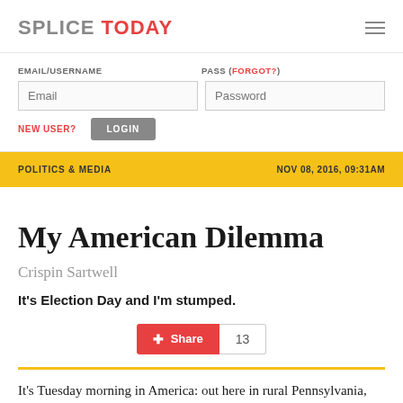SPLICE TODAY
EMAIL/USERNAME | PASS (FORGOT?) | NEW USER? | LOGIN
POLITICS & MEDIA | NOV 08, 2016, 09:31AM
My American Dilemma
Crispin Sartwell
It's Election Day and I'm stumped.
Share  13
It's Tuesday morning in America: out here in rural Pennsylvania, it's like being in the eye of a